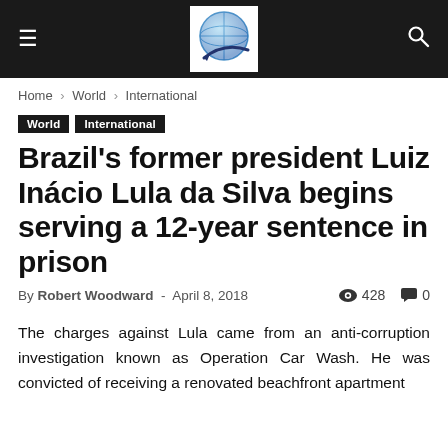≡  [globe logo]  🔍
Home › World › International
World
International
Brazil's former president Luiz Inácio Lula da Silva begins serving a 12-year sentence in prison
By Robert Woodward  -  April 8, 2018   👁 428   💬 0
The charges against Lula came from an anti-corruption investigation known as Operation Car Wash. He was convicted of receiving a renovated beachfront apartment